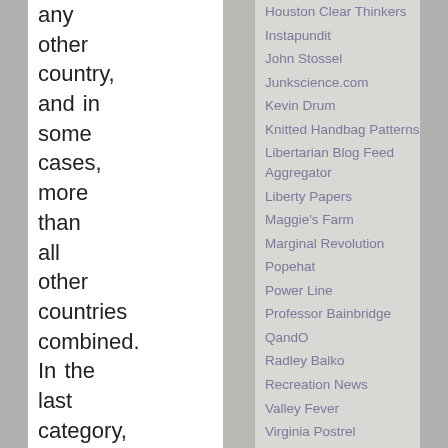any other country, and in some cases, more than all other countries combined. In the last category, business models, we lack the data
Houston Clear Thinkers
Instapundit
John Stossel
Junkscience.com
Kevin Drum
Knitted Handbag Patterns
Libertarian Blog Feed Aggregator
Liberty Papers
Maggie's Farm
Marginal Revolution
Popehat
Power Line
Professor Bainbridge
QandO
Radley Balko
Recreation News
Valley Fever
Virginia Postrel
Volokh Conspiracy
RECREATION LINKS